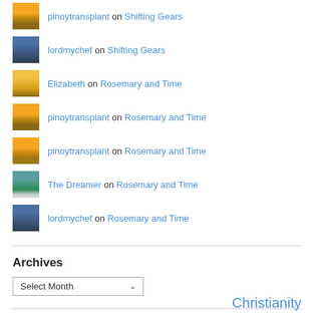pinoytransplant on Shifting Gears
lordmychef on Shifting Gears
Elizabeth on Rosemary and Time
pinoytransplant on Rosemary and Time
pinoytransplant on Rosemary and Time
The Dreamer on Rosemary and Time
lordmychef on Rosemary and Time
Archives
Select Month
Christianity